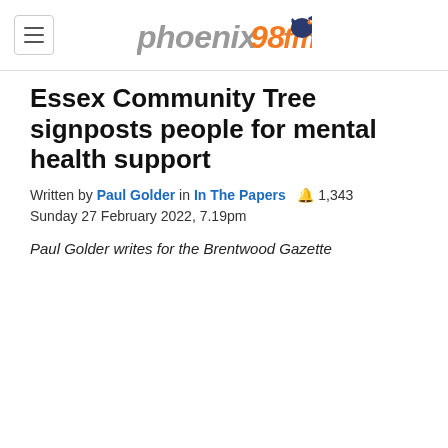phoenix98fm
Essex Community Tree signposts people for mental health support
Written by Paul Golder in In The Papers  🔔 1,343
Sunday 27 February 2022, 7.19pm
Paul Golder writes for the Brentwood Gazette